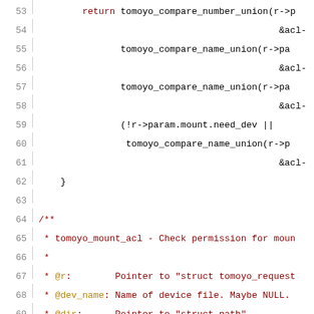Source code listing, lines 53-74, C kernel code with comments